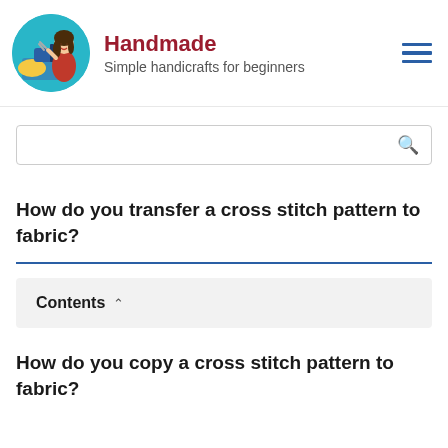Handmade — Simple handicrafts for beginners
[Figure (logo): Circular teal logo with illustrated woman in red shirt sewing at a machine with yellow fabric]
Handmade
Simple handicrafts for beginners
Search bar
How do you transfer a cross stitch pattern to fabric?
Contents
How do you copy a cross stitch pattern to fabric?